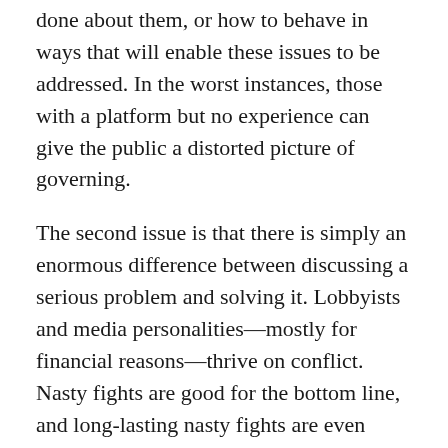done about them, or how to behave in ways that will enable these issues to be addressed. In the worst instances, those with a platform but no experience can give the public a distorted picture of governing.
The second issue is that there is simply an enormous difference between discussing a serious problem and solving it. Lobbyists and media personalities—mostly for financial reasons—thrive on conflict. Nasty fights are good for the bottom line, and long-lasting nasty fights are even better. So they are often incentivized to turn up the heat, instigate fights, draw battle lines, keep spats going. In other words, the CIC fosters conditions perfect for perpetuating conflict, not for resolving problems.
What results is public discourse that leads many Americans to think our problems can't be solved. It